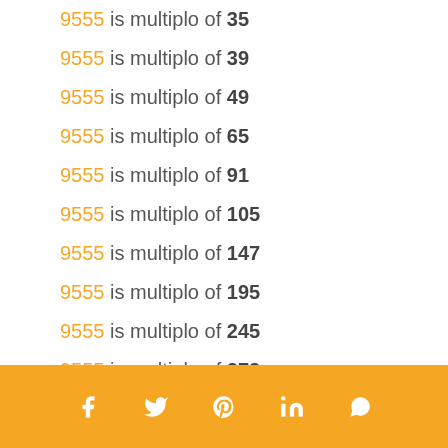9555 is multiplo of 35
9555 is multiplo of 39
9555 is multiplo of 49
9555 is multiplo of 65
9555 is multiplo of 91
9555 is multiplo of 105
9555 is multiplo of 147
9555 is multiplo of 195
9555 is multiplo of 245
9555 is multiplo of 273
9555 is multiplo of 455
Social share icons: Facebook, Twitter, Pinterest, LinkedIn, WhatsApp